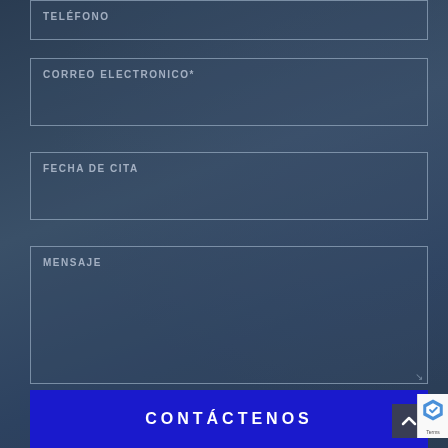TELÉFONO
CORREO ELECTRONICO*
FECHA DE CITA
MENSAJE
CONTÁCTENOS